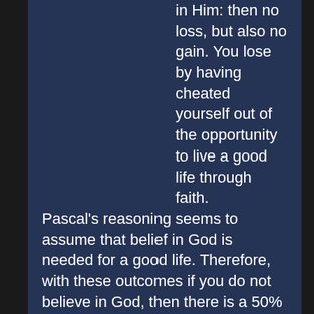in Him: then no loss, but also no gain. You lose by having cheated yourself out of the opportunity to live a good life through faith. Pascal's reasoning seems to assume that belief in God is needed for a good life. Therefore, with these outcomes if you do not believe in God, then there is a 50% chance of losing really big-time and 50% chance that you would have simply not led a good life. Therefore, you gain nothing by not believing in God and stand to lose everything. However, if you do believe in God, then there is 100% chance you will win, since if God exists then you are saved